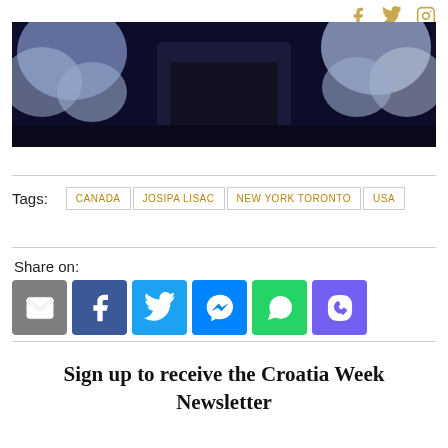[Figure (photo): Partial hero image showing a person in a dark shirt with large white/grey flowers on both sides, tinted blue-dark]
Tags: CANADA  JOSIPA LISAC  NEW YORK TORONTO  USA
Share on:
[Figure (infographic): Row of social share buttons: email (grey), Facebook (blue), Twitter (light blue), Messenger (blue), WhatsApp (green), Viber (purple)]
Sign up to receive the Croatia Week Newsletter